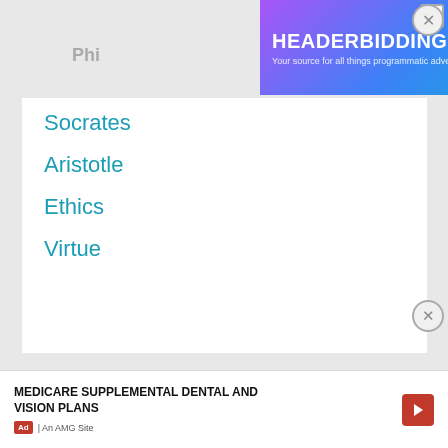[Figure (screenshot): HeaderBidding.com advertisement banner with gradient purple/blue background and text 'Your source for all things programmatic advertising.']
Socrates
Aristotle
Ethics
Virtue
[Figure (screenshot): Bottom advertisement for Medicare Supplemental Dental and Vision Plans with arrow button, Ad badge, and 'An AMG Site' label]